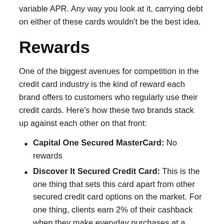variable APR. Any way you look at it, carrying debt on either of these cards wouldn't be the best idea.
Rewards
One of the biggest avenues for competition in the credit card industry is the kind of reward each brand offers to customers who regularly use their credit cards. Here's how these two brands stack up against each other on that front:
Capital One Secured MasterCard: No rewards
Discover It Secured Credit Card: This is the one thing that sets this card apart from other secured credit card options on the market. For one thing, clients earn 2% of their cashback when they make everyday purchases at a restaurant or a gas station. This covers up to $1,000 spent every quarter. You also get 1% of your cashback on all other